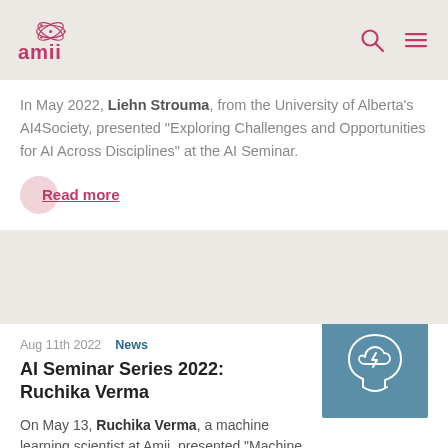amii
In May 2022, Liehn Strouma, from the University of Alberta's AI4Society, presented "Exploring Challenges and Opportunities for AI Across Disciplines" at the AI Seminar.
Read more
Aug 11th 2022   News
AI Seminar Series 2022: Ruchika Verma
On May 13, Ruchika Verma, a machine learning scientist at Amii, presented "Machine Learning to
[Figure (illustration): Icon of a human head profile with a brain depicted as a thundercloud with a lightning bolt, white lines on teal/steel blue background square tile]